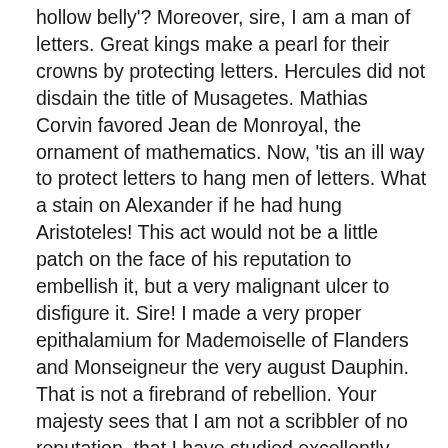hollow belly'? Moreover, sire, I am a man of letters. Great kings make a pearl for their crowns by protecting letters. Hercules did not disdain the title of Musagetes. Mathias Corvin favored Jean de Monroyal, the ornament of mathematics. Now, 'tis an ill way to protect letters to hang men of letters. What a stain on Alexander if he had hung Aristoteles! This act would not be a little patch on the face of his reputation to embellish it, but a very malignant ulcer to disfigure it. Sire! I made a very proper epithalamium for Mademoiselle of Flanders and Monseigneur the very august Dauphin. That is not a firebrand of rebellion. Your majesty sees that I am not a scribbler of no reputation, that I have studied excellently well, and that I possess much natural eloquence. Have mercy upon me, sire! In so doing you will perform a gallant deed to our Lady, and I swear to you that I am greatly terrified at the idea of being hanged!"